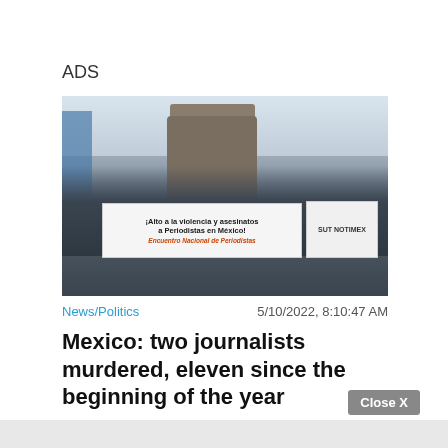ADS
[Figure (photo): Protest rally with journalists holding a banner that reads '¡Alto a la violencia y asesinatos a Periodistas en México!' and 'Encuentro Nacional de Periodistas', with a monument and city buildings in the background.]
News/Politics
5/10/2022, 8:10:47 AM
Mexico: two journalists murdered, eleven since the beginning of the year
Close X